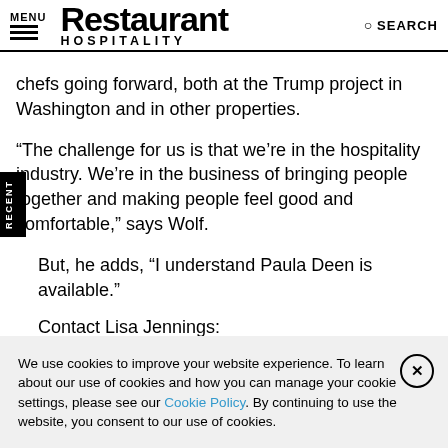MENU | Restaurant HOSPITALITY | SEARCH
chefs going forward, both at the Trump project in Washington and in other properties.
“The challenge for us is that we’re in the hospitality industry. We’re in the business of bringing people together and making people feel good and comfortable,” says Wolf.
But, he adds, “I understand Paula Deen is available.”
Contact Lisa Jennings: lisa.jennings@penton.com
We use cookies to improve your website experience. To learn about our use of cookies and how you can manage your cookie settings, please see our Cookie Policy. By continuing to use the website, you consent to our use of cookies.